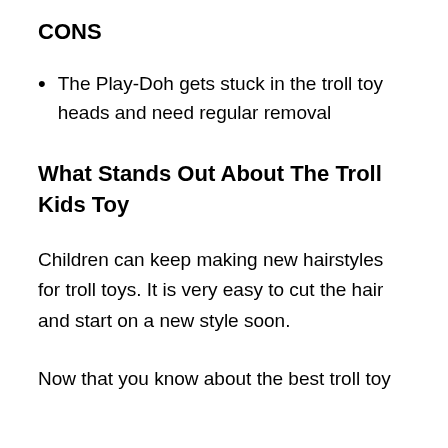CONS
The Play-Doh gets stuck in the troll toy heads and need regular removal
What Stands Out About The Troll Kids Toy
Children can keep making new hairstyles for troll toys. It is very easy to cut the hair and start on a new style soon.
Now that you know about the best troll toy